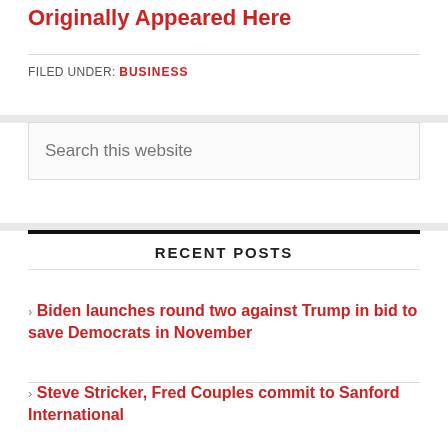Originally Appeared Here
FILED UNDER: BUSINESS
[Figure (other): Search box with placeholder text 'Search this website']
RECENT POSTS
Biden launches round two against Trump in bid to save Democrats in November
Steve Stricker, Fred Couples commit to Sanford International